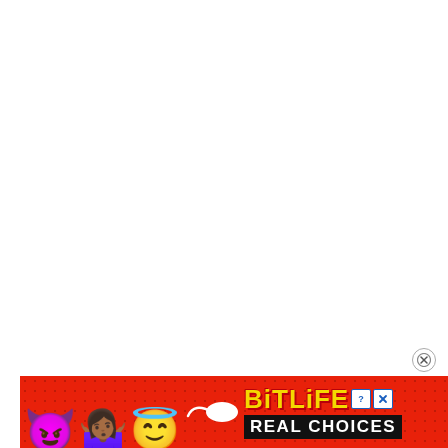[Figure (illustration): White blank space occupying most of the page, serving as background content area]
[Figure (illustration): Close/dismiss button: circle with X icon, positioned above the ad banner at bottom right]
[Figure (illustration): BitLife mobile game advertisement banner. Red background with dot pattern overlay. Shows devil emoji, person/dancer emoji, angel emoji, sperm emoji, BitLife logo in yellow bold text with info and close buttons, and 'REAL CHOICES' text in white on black background.]